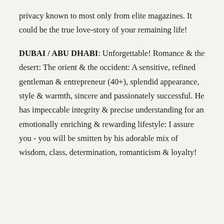privacy known to most only from elite magazines. It could be the true love-story of your remaining life!
DUBAI / ABU DHABI: Unforgettable! Romance & the desert: The orient & the occident: A sensitive, refined gentleman & entrepreneur (40+), splendid appearance, style & warmth, sincere and passionately successful. He has impeccable integrity & precise understanding for an emotionally enriching & rewarding lifestyle: I assure you - you will be smitten by his adorable mix of wisdom, class, determination, romanticism & loyalty!